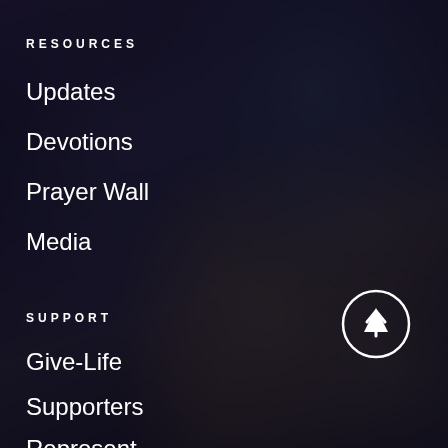RESOURCES
Updates
Devotions
Prayer Wall
Media
SUPPORT
Give-Life
Supporters
Represent
Gear
[Figure (illustration): Circle button with upward arrow icon, white outline on dark blurred background]